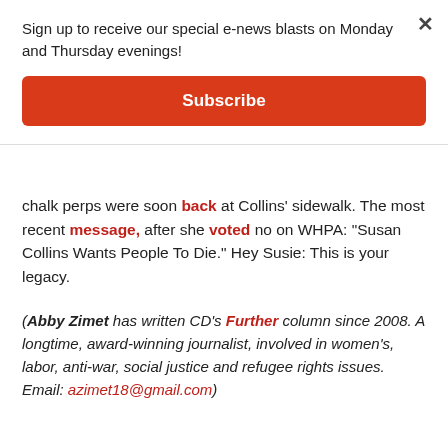Sign up to receive our special e-news blasts on Monday and Thursday evenings!
Subscribe
chalk perps were soon back at Collins' sidewalk. The most recent message, after she voted no on WHPA: "Susan Collins Wants People To Die." Hey Susie: This is your legacy.
(Abby Zimet has written CD's Further column since 2008. A longtime, award-winning journalist, involved in women's, labor, anti-war, social justice and refugee rights issues. Email: azimet18@gmail.com)